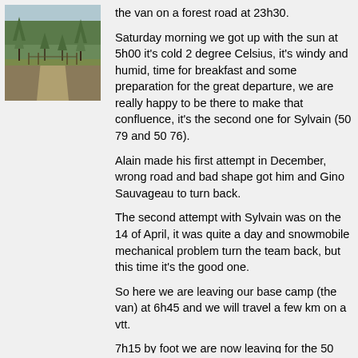[Figure (photo): A forest road scene with sparse conifer trees on a sandy/grassy ground, photographed in natural light.]
the van on a forest road at 23h30.
Saturday morning we got up with the sun at 5h00 it's cold 2 degree Celsius, it's windy and humid, time for breakfast and some preparation for the great departure, we are really happy to be there to make that confluence, it's the second one for Sylvain (50 79 and 50 76).
Alain made his first attempt in December, wrong road and bad shape got him and Gino Sauvageau to turn back.
The second attempt with Sylvain was on the 14 of April, it was quite a day and snowmobile mechanical problem turn the team back, but this time it's the good one.
So here we are leaving our base camp (the van) at 6h45 and we will travel a few km on a vtt.
7h15 by foot we are now leaving for the 50 76; to be there we have to walk around 7 km.
We are walking in a conifer forest on a carpet of moss quite typical of forest at this latitude in Québec, it's so nice and we feel a great privilege to be there, and how lucky it's too early in the season for mosquito.